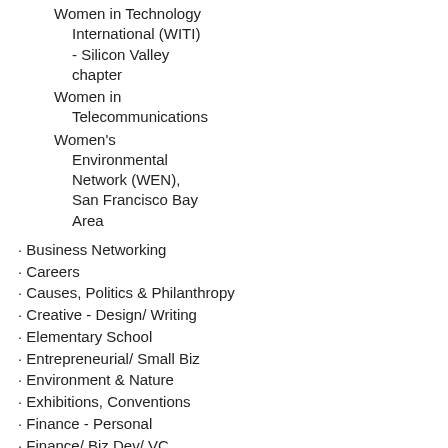Women in Technology International (WITI) - Silicon Valley chapter
Women in Telecommunications
Women's Environmental Network (WEN), San Francisco Bay Area
· Business Networking
· Careers
· Causes, Politics & Philanthropy
· Creative - Design/ Writing
· Elementary School
· Entrepreneurial/ Small Biz
· Environment & Nature
· Exhibitions, Conventions
· Finance - Personal
· Finance/ Biz Dev/ VC
· Gov'ts & Agencies
· Health, Wellness & Self-help
· HR/ Training/ Org Dev